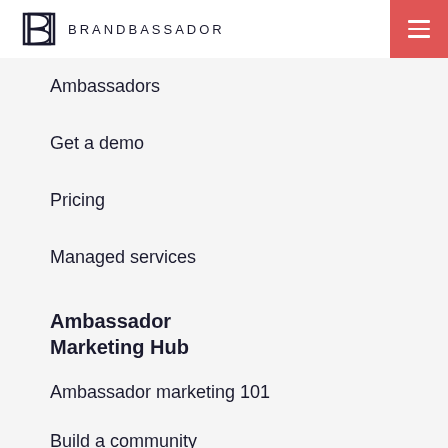BRANDBASSADOR
Ambassadors
Get a demo
Pricing
Managed services
Ambassador Marketing Hub
Ambassador marketing 101
Build a community
Grow & manage a community
Explore Brandbassador